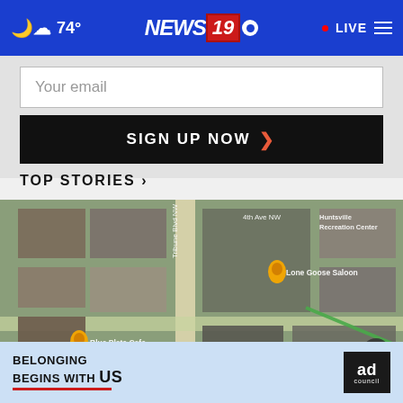74° NEWS 19 · LIVE
Your email
SIGN UP NOW ›
TOP STORIES ›
[Figure (map): Aerial/satellite map view of Huntsville area showing Blue Plate Cafe, Lone Goose Saloon, and Huntsville Recreation Center with street labels including 4th Ave NW, Tribune Blvd NW, and Clinton Ave W]
[Figure (advertisement): Ad Council advertisement reading BELONGING BEGINS WITH US with red underline and Ad Council logo]